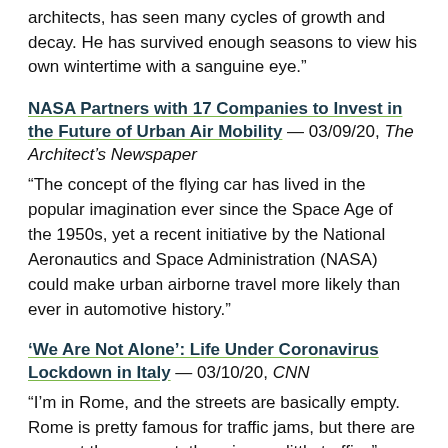architects, has seen many cycles of growth and decay. He has survived enough seasons to view his own wintertime with a sanguine eye.”
NASA Partners with 17 Companies to Invest in the Future of Urban Air Mobility — 03/09/20, The Architect’s Newspaper
“The concept of the flying car has lived in the popular imagination ever since the Space Age of the 1950s, yet a recent initiative by the National Aeronautics and Space Administration (NASA) could make urban airborne travel more likely than ever in automotive history.”
‘We Are Not Alone’: Life Under Coronavirus Lockdown in Italy — 03/10/20, CNN
“I’m in Rome, and the streets are basically empty. Rome is pretty famous for traffic jams, but there are none at the moment, there is very little traffic. ”
Esri Sets Up COVID-19 GIS Hub — 03/13/20